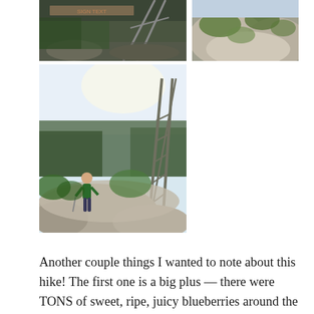[Figure (photo): Three outdoor/hiking photos arranged in a collage: top-left shows a sign/structure at a trail, top-right shows mossy green rocks, bottom-left shows a person hiking on rocky terrain with a metal fire tower structure and vegetation in the background against a bright sky.]
Another couple things I wanted to note about this hike!  The first one is a big plus — there were TONS of sweet, ripe, juicy blueberries around the fire tower when we visited in late July.  It was a treat to enjoy them with our packed lunch.  The negative I wanted to remark on is the amount of litter left in the Channels.  There were so many plastic water bottles, candy wrappers, and beer cans tucked into crevices in the rocks.  It's always a bummer to visit a beautiful, unique place and find it covered with